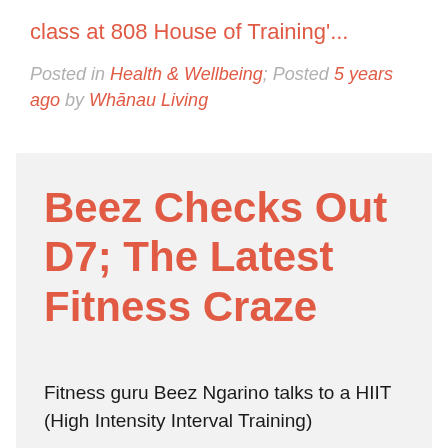class at 808 House of Training'...
Posted in Health & Wellbeing; Posted 5 years ago by Whānau Living
Beez Checks Out D7; The Latest Fitness Craze
Fitness guru Beez Ngarino talks to a HIIT (High Intensity Interval Training)